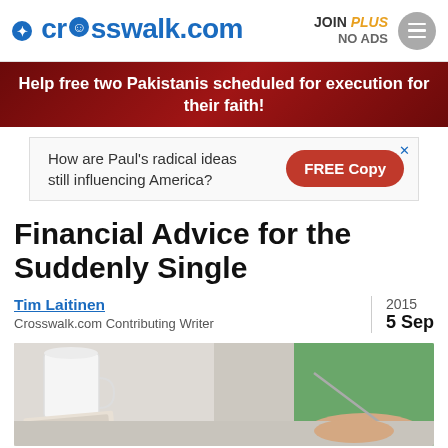crosswalk.com — JOIN PLUS NO ADS
Help free two Pakistanis scheduled for execution for their faith!
[Figure (other): Advertisement banner: How are Paul's radical ideas still influencing America? FREE Copy button]
Financial Advice for the Suddenly Single
Tim Laitinen
Crosswalk.com Contributing Writer
2015
5 Sep
[Figure (photo): Photo of a person in a green shirt writing at a desk with a white mug nearby]